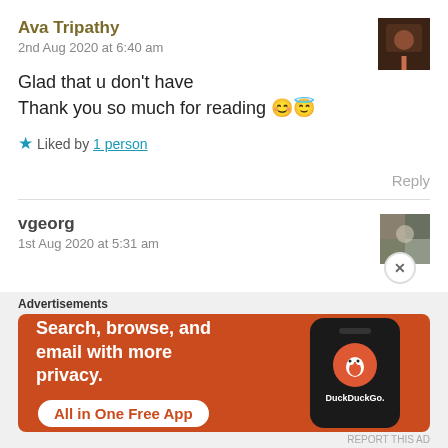Ava Tripathy
2nd Aug 2020 at 6:40 am
Glad that u don't have
Thank you so much for reading 😊😇
Liked by 1 person
Reply
vgeorg
1st Aug 2020 at 5:31 am
[Figure (infographic): DuckDuckGo advertisement banner: Search, browse, and email with more privacy. All in One Free App]
Advertisements